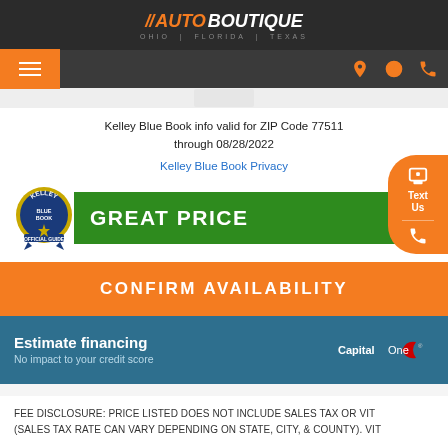//AUTO BOUTIQUE OHIO | FLORIDA | TEXAS
Kelley Blue Book info valid for ZIP Code 77511 through 08/28/2022
Kelley Blue Book Privacy
[Figure (logo): Kelley Blue Book badge and GREAT PRICE green banner]
CONFIRM AVAILABILITY
Estimate financing
No impact to your credit score
FEE DISCLOSURE: PRICE LISTED DOES NOT INCLUDE SALES TAX OR VIT (SALES TAX RATE CAN VARY DEPENDING ON STATE, CITY, & COUNTY). VIT